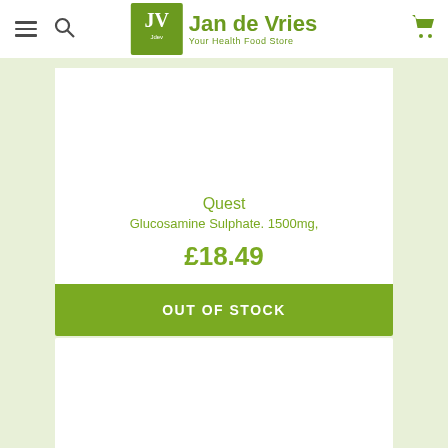Jan de Vries — Your Health Food Store
[Figure (photo): Product image area (blank white) for Quest Glucosamine Sulphate]
Quest
Glucosamine Sulphate. 1500mg,
£18.49
OUT OF STOCK
[Figure (photo): Second product card image area (blank white)]